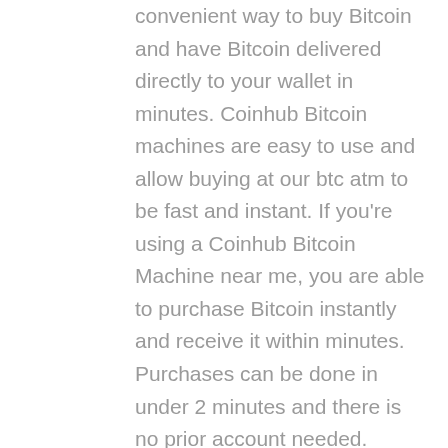convenient way to buy Bitcoin and have Bitcoin delivered directly to your wallet in minutes. Coinhub Bitcoin machines are easy to use and allow buying at our btc atm to be fast and instant. If you're using a Coinhub Bitcoin Machine near me, you are able to purchase Bitcoin instantly and receive it within minutes. Purchases can be done in under 2 minutes and there is no prior account needed. Simply walk up to any Coinhub Bitcoin ATM to purchase and verify. Many Coinhub Bitcoin ATMs also allow you to both buy AND sell crypto for cash. The process of buying Bitcoin using one of our Bitcoin ATMs is as follows: First locate the closest Bitcoin ATM near you in your city by visiting our Coinhub Bitcoin ATM Locator. Enter your phone number and walk up to the machine. You will then verify your phone with a code and scan your bitcoin wallet. Enter each bill one at a time to determine the amount you wish to purchase. After